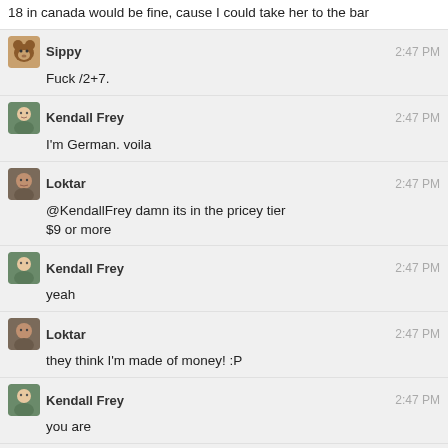18 in canada would be fine, cause I could take her to the bar
Sippy 2:47 PM
Fuck /2+7.
Kendall Frey 2:47 PM
I'm German. voila
Loktar 2:47 PM
@KendallFrey damn its in the pricey tier
$9 or more
Kendall Frey 2:47 PM
yeah
Loktar 2:47 PM
they think I'm made of money! :P
Kendall Frey 2:47 PM
you are
copy 2:47 PM
@SterlingArcher You can buy beer at 12 in Germany
(Just kidding)
Kendall Frey 2:47 PM
@SterlingArcher 19